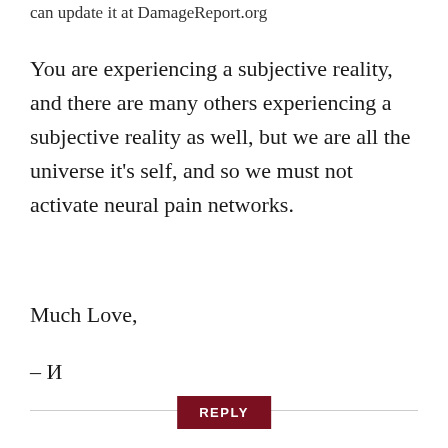can update it at DamageReport.org
You are experiencing a subjective reality, and there are many others experiencing a subjective reality as well, but we are all the universe it's self, and so we must not activate neural pain networks.
Much Love,
– И
REPLY